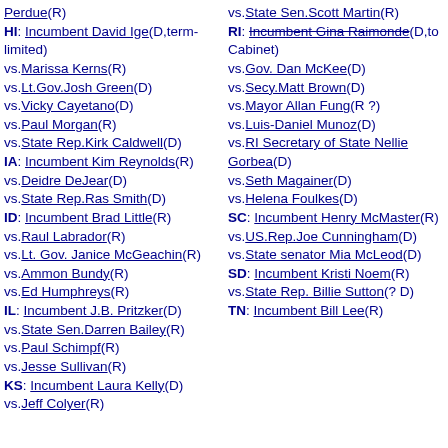Perdue(R) HI: Incumbent David Ige(D,term-limited) vs.Marissa Kerns(R) vs.Lt.Gov.Josh Green(D) vs.Vicky Cayetano(D) vs.Paul Morgan(R) vs.State Rep.Kirk Caldwell(D) IA: Incumbent Kim Reynolds(R) vs.Deidre DeJear(D) vs.State Rep.Ras Smith(D) ID: Incumbent Brad Little(R) vs.Raul Labrador(R) vs.Lt. Gov. Janice McGeachin(R) vs.Ammon Bundy(R) vs.Ed Humphreys(R) IL: Incumbent J.B. Pritzker(D) vs.State Sen.Darren Bailey(R) vs.Paul Schimpf(R) vs.Jesse Sullivan(R) KS: Incumbent Laura Kelly(D) vs.Jeff Colyer(R)
vs.State Sen.Scott Martin(R) RI: Incumbent Gina Raimonde(D,to Cabinet) vs.Gov. Dan McKee(D) vs.Secy.Matt Brown(D) vs.Mayor Allan Fung(R ?) vs.Luis-Daniel Munoz(D) vs.RI Secretary of State Nellie Gorbea(D) vs.Seth Magainer(D) vs.Helena Foulkes(D) SC: Incumbent Henry McMaster(R) vs.US.Rep.Joe Cunningham(D) vs.State senator Mia McLeod(D) SD: Incumbent Kristi Noem(R) vs.State Rep. Billie Sutton(? D) TN: Incumbent Bill Lee(R)